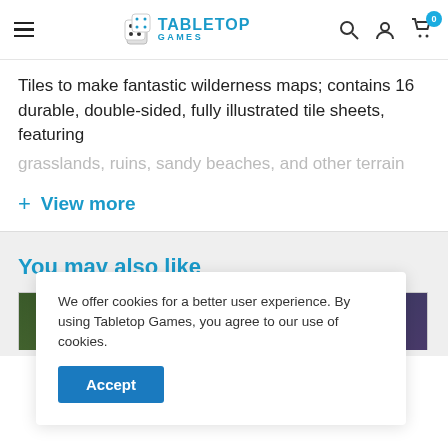Tabletop Games — Navigation header with logo, search, account, and cart icons
Tiles to make fantastic wilderness maps; contains 16 durable, double-sided, fully illustrated tile sheets, featuring grasslands, ruins, sandy beaches, and other terrain
+ View more
You may also like
[Figure (screenshot): Product image strip showing game tiles]
We offer cookies for a better user experience. By using Tabletop Games, you agree to our use of cookies.
Accept